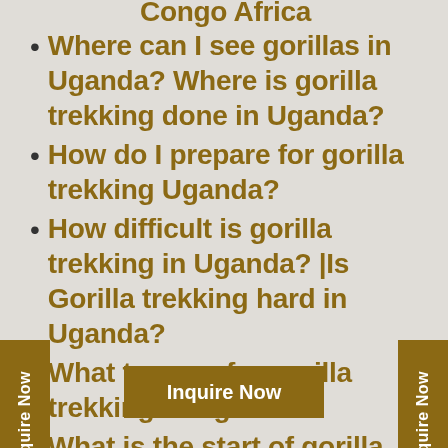Congo Africa
Where can I see gorillas in Uganda? Where is gorilla trekking done in Uganda?
How do I prepare for gorilla trekking Uganda?
How difficult is gorilla trekking in Uganda? |Is Gorilla trekking hard in Uganda?
What to wear for gorilla trekking in Uganda?
What is the start of gorilla trekking like?
What are the rules and regulations for gorilla trekking in Uganda?